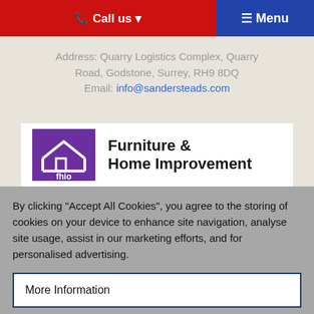☎ Call us ▾   ☰ Menu
Address: Quarry Logistics Complex, Quarry Road, Godstone, Surrey, RH9 8DQ
Email: info@sandersteads.com
[Figure (logo): fhio purple square logo with house icon, followed by 'Furniture & Home Improvement' bold text]
By clicking "Accept All Cookies", you agree to the storing of cookies on your device to enhance site navigation, analyse site usage, assist in our marketing efforts, and for personalised advertising.
More Information
Accept All Cookies